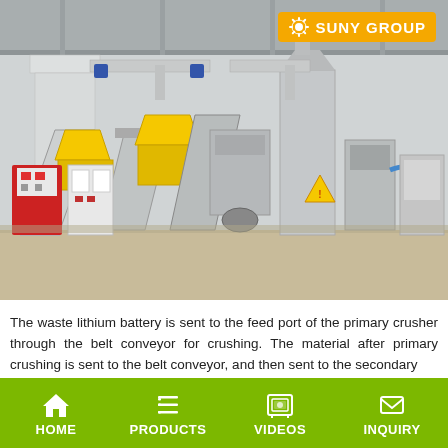[Figure (photo): Industrial factory interior showing a lithium battery recycling/processing line with conveyor belts, crushers, yellow hoppers, grey machinery, control panels, and ventilation ducts. SUNY GROUP logo visible in upper right corner.]
The waste lithium battery is sent to the feed port of the primary crusher through the belt conveyor for crushing. The material after primary crushing is sent to the belt conveyor, and then sent to the secondary...
HOME   PRODUCTS   VIDEOS   INQUIRY